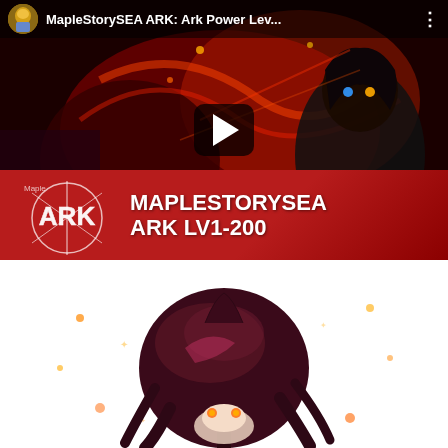[Figure (screenshot): YouTube video thumbnail for MapleStorySEA ARK: Ark Power Lev... showing a dark fantasy game scene with an anime-style character. The video has a play button overlay. A red banner at the bottom reads MAPLESTORYSEA ARK LV1-200 with the ARK logo on the left.]
[Figure (illustration): Chibi anime-style character with dark purple/maroon hair viewed from above/behind, with glowing orange eyes or particles around them. White background.]